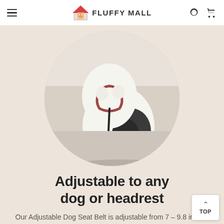FLUFFY MALL
[Figure (photo): Circular cropped photo of a black and white dog wearing a harness and leash, sitting on a light-colored floor]
Adjustable to any dog or headrest
Our Adjustable Dog Seat Belt is adjustable from 7 – 9.8 inches for the head loop, and the length of the on leash is 15.7 – 27.6 inches. This scalable size makes the leash perfect for any size or any headrest...